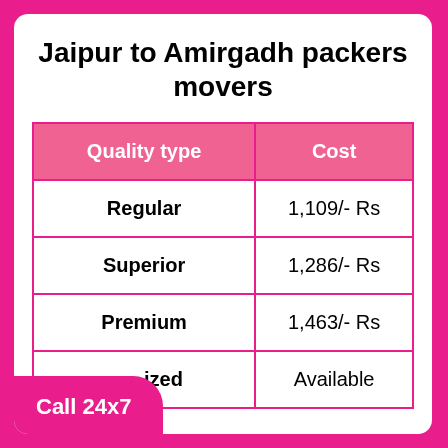Jaipur to Amirgadh packers movers
| Quality type | Cost |
| --- | --- |
| Regular | 1,109/- Rs |
| Superior | 1,286/- Rs |
| Premium | 1,463/- Rs |
| Customized | Available |
Call 24x7